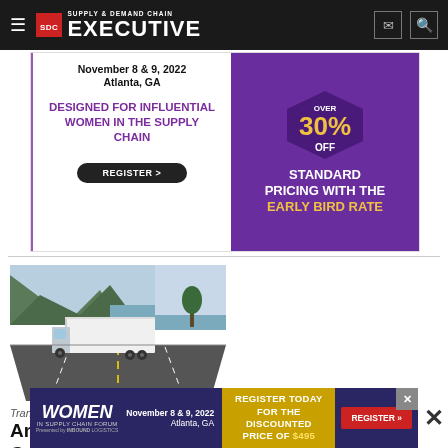SDC Supply & Demand Chain Executive
[Figure (photo): Advertisement banner for Women in Supply Chain Forum, November 8 & 9, 2022, Atlanta, GA. Purple/white design. Left side: 'Designed for Influential Women in the Supply Chain' with Register button. Right side: hexagon badge showing Over 30% OFF, Standard Pricing with the Early Bird Rate.]
[Figure (photo): Photograph of a white semi-truck trailer driving on a highway with mountains and water visible in the background. Blue sky with clouds.]
Transportation
Americ… Continu… …ork
[Figure (photo): Bottom overlay advertisement for Women in Supply Chain Forum, November 8 & 9, 2022, Atlanta, GA. Dark blue background. Register Today for the Discounted Price of $495. Register button on right.]